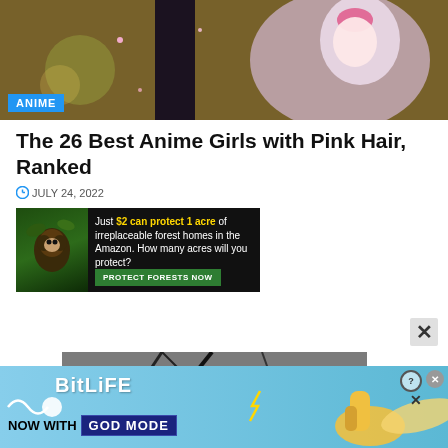[Figure (illustration): Anime girl with pink hair, colorful animated style header image]
The 26 Best Anime Girls with Pink Hair, Ranked
JULY 24, 2022
[Figure (photo): Advertisement banner: Just $2 can protect 1 acre of irreplaceable forest homes in the Amazon. How many acres will you protect? PROTECT FORESTS NOW]
[Figure (photo): Second article image - dark photo partially visible]
[Figure (illustration): BitLife advertisement: NOW WITH GOD MODE - mobile game ad with thumbs up illustration]